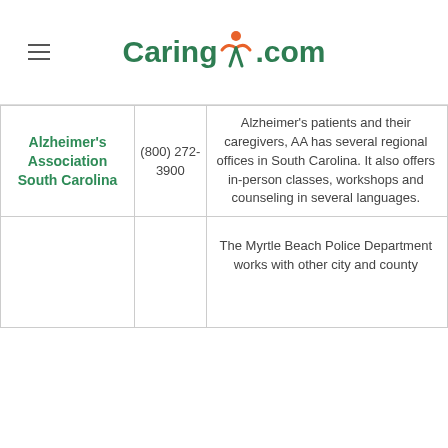Caring.com
| Organization | Phone | Description |
| --- | --- | --- |
| Alzheimer's Association South Carolina | (800) 272-3900 | Alzheimer's patients and their caregivers, AA has several regional offices in South Carolina. It also offers in-person classes, workshops and counseling in several languages. |
|  |  | The Myrtle Beach Police Department works with other city and county |